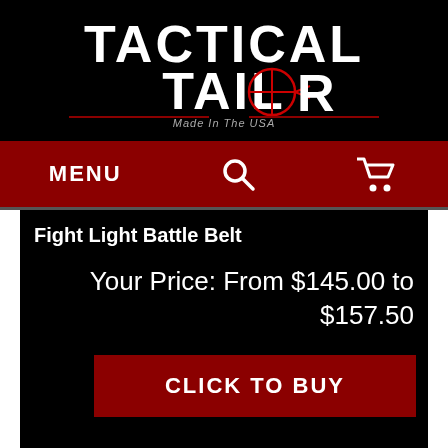[Figure (logo): Tactical Tailor logo - white distressed text reading TACTICAL TAILOR with a red crosshair on the O, tagline Made In The USA, on black background]
MENU [search icon] [cart icon]
Fight Light Battle Belt
Your Price: From $145.00 to $157.50
CLICK TO BUY